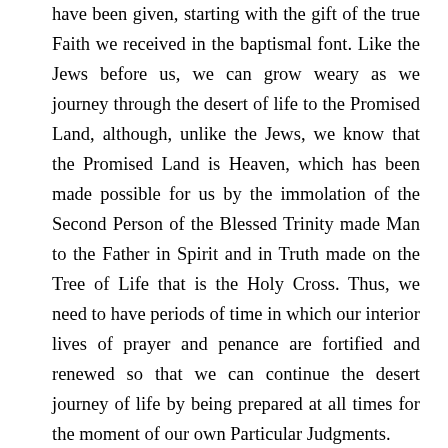have been given, starting with the gift of the true Faith we received in the baptismal font. Like the Jews before us, we can grow weary as we journey through the desert of life to the Promised Land, although, unlike the Jews, we know that the Promised Land is Heaven, which has been made possible for us by the immolation of the Second Person of the Blessed Trinity made Man to the Father in Spirit and in Truth made on the Tree of Life that is the Holy Cross. Thus, we need to have periods of time in which our interior lives of prayer and penance are fortified and renewed so that we can continue the desert journey of life by being prepared at all times for the moment of our own Particular Judgments.
Six weeks is a long period, just about one-ninth of a year. It is not possible...